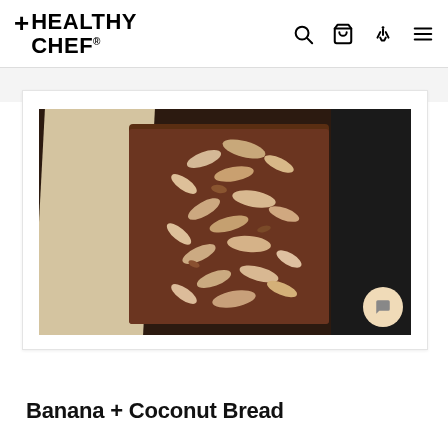+HEALTHY CHEF
[Figure (photo): Top-down photo of a banana and coconut bread loaf in a baking tin lined with white parchment paper, topped with flaked coconut pieces, on a dark background]
Banana + Coconut Bread